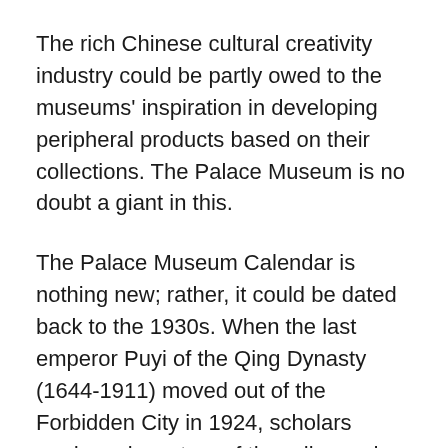The rich Chinese cultural creativity industry could be partly owed to the museums' inspiration in developing peripheral products based on their collections. The Palace Museum is no doubt a giant in this.
The Palace Museum Calendar is nothing new; rather, it could be dated back to the 1930s. When the last emperor Puyi of the Qing Dynasty (1644-1911) moved out of the Forbidden City in 1924, scholars made an inventory of the relics and compiled several expertise periodicals. The Palace Museum Calendar, which was first published in 1932, was one of them.
On the back side of each page was the